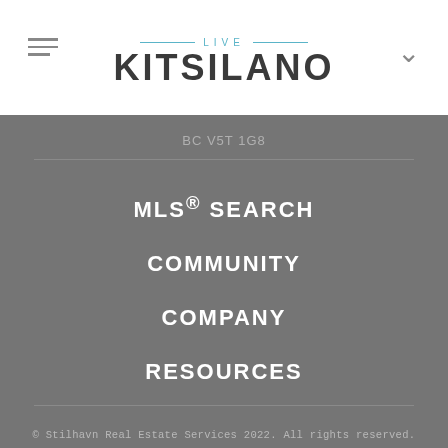LIVE KITSILANO
BC V5T 1G8
MLS® SEARCH
COMMUNITY
COMPANY
RESOURCES
© Stilhavn Real Estate Services 2022. All rights reserved. Brand & Website Design by Massive Media Powered by Elio.ca